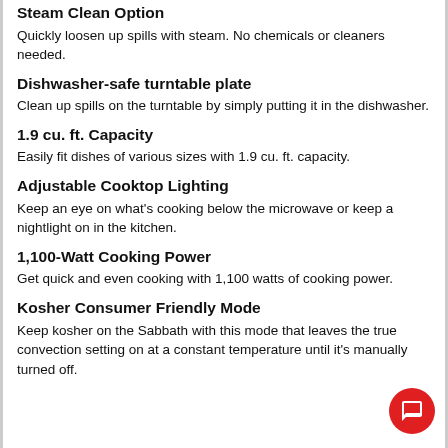Steam Clean Option
Quickly loosen up spills with steam. No chemicals or cleaners needed.
Dishwasher-safe turntable plate
Clean up spills on the turntable by simply putting it in the dishwasher.
1.9 cu. ft. Capacity
Easily fit dishes of various sizes with 1.9 cu. ft. capacity.
Adjustable Cooktop Lighting
Keep an eye on what's cooking below the microwave or keep a nightlight on in the kitchen.
1,100-Watt Cooking Power
Get quick and even cooking with 1,100 watts of cooking power.
Kosher Consumer Friendly Mode
Keep kosher on the Sabbath with this mode that leaves the true convection setting on at a constant temperature until it's manually turned off.